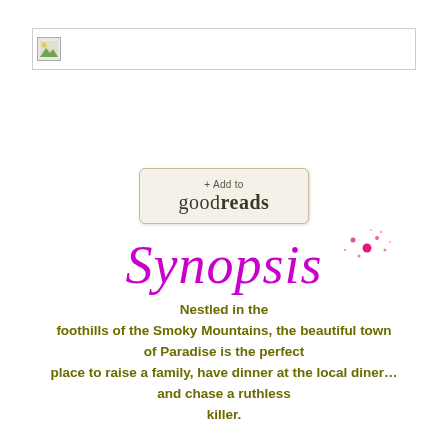[Figure (screenshot): Page header bar with broken image icon placeholder and horizontal border]
[Figure (logo): Goodreads button: '+ Add to goodreads' with beige rounded rectangle button styling]
Synopsis
Nestled in the foothills of the Smoky Mountains, the beautiful town of Paradise is the perfect place to raise a family, have dinner at the local diner... and chase a ruthless killer.